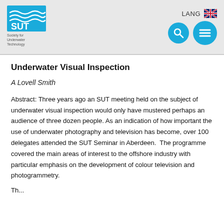[Figure (logo): SUT (Society for Underwater Technology) logo with blue wave and text]
LANG [UK flag icon] [search icon] [menu icon]
Underwater Visual Inspection
A Lovell Smith
Abstract: Three years ago an SUT meeting held on the subject of underwater visual inspection would only have mustered perhaps an audience of three dozen people. As an indication of how important the use of underwater photography and television has become, over 100 delegates attended the SUT Seminar in Aberdeen.  The programme covered the main areas of interest to the offshore industry with particular emphasis on the development of colour television and photogrammetry.
Th...